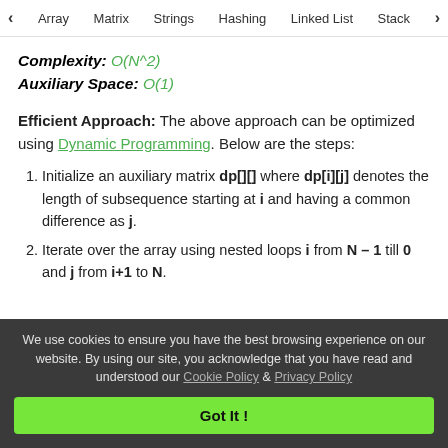< Array   Matrix   Strings   Hashing   Linked List   Stack >
Complexity: O(N^2)
Auxiliary Space: O(1)
Efficient Approach: The above approach can be optimized using Dynamic Programming. Below are the steps:
Initialize an auxiliary matrix dp[][] where dp[i][j] denotes the length of subsequence starting at i and having a common difference as j.
Iterate over the array using nested loops i from N – 1 till 0 and j from i+1 to N.
We use cookies to ensure you have the best browsing experience on our website. By using our site, you acknowledge that you have read and understood our Cookie Policy & Privacy Policy
Got It !